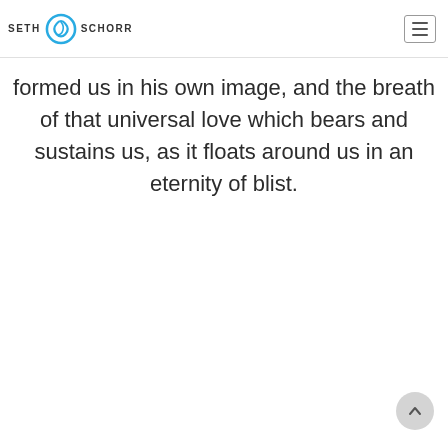SETH SCHORR
formed us in his own image, and the breath of that universal love which bears and sustains us, as it floats around us in an eternity of blist.